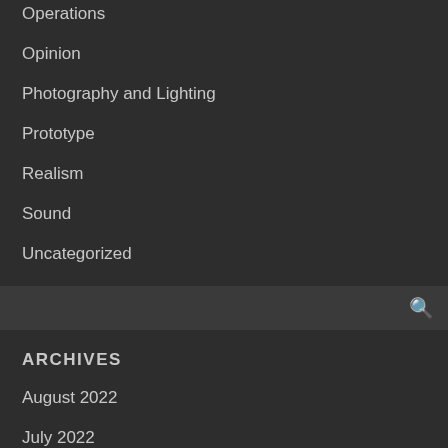Operations
Opinion
Photography and Lighting
Prototype
Realism
Sound
Uncategorized
ARCHIVES
August 2022
July 2022